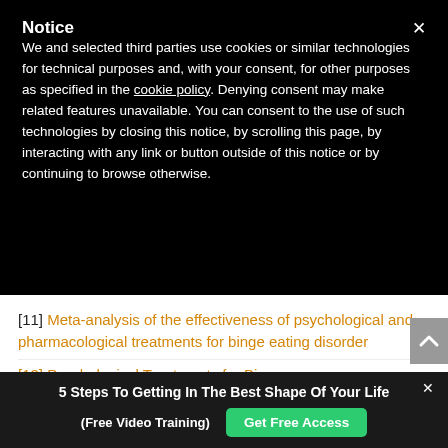Notice
We and selected third parties use cookies or similar technologies for technical purposes and, with your consent, for other purposes as specified in the cookie policy. Denying consent may make related features unavailable. You can consent to the use of such technologies by closing this notice, by scrolling this page, by interacting with any link or button outside of this notice or by continuing to browse otherwise.
[11] Meta-analysis of the effectiveness of psychological and pharmacological treatments for binge eating disorder
[12] Psychological Treatments for Binge...
5 Steps To Getting In The Best Shape Of Your Life (Free Video Training)
Get Free Access